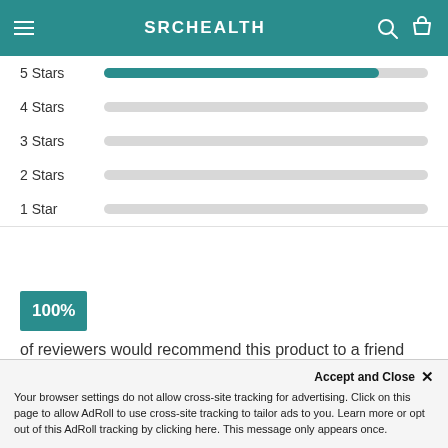SRCHEALTH
[Figure (bar-chart): Star ratings distribution]
100% of reviewers would recommend this product to a friend
[Figure (photo): Small image placeholder box]
Accept and Close ×
Your browser settings do not allow cross-site tracking for advertising. Click on this page to allow AdRoll to use cross-site tracking to tailor ads to you. Learn more or opt out of this AdRoll tracking by clicking here. This message only appears once.